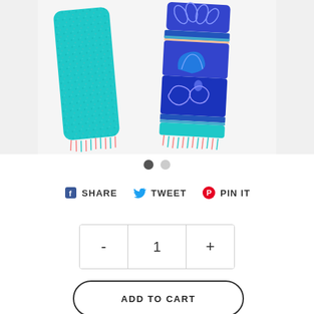[Figure (photo): A colorful scarf with turquoise and blue patterns including floral and paisley motifs, tied in a loop, with fringe at the ends, displayed on white background.]
• (carousel dots: 2 dots, first selected)
SHARE  TWEET  PIN IT
- 1 +
ADD TO CART